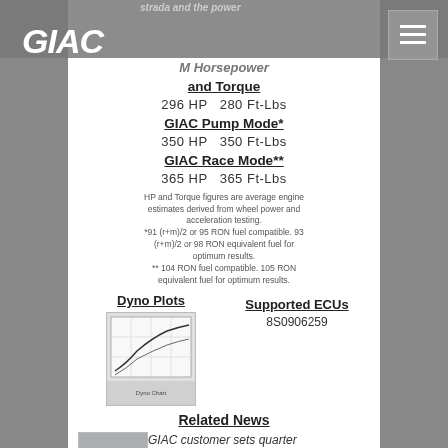GIAC
M Horsepower and Torque
296 HP  280 Ft-Lbs
GIAC Pump Mode*
350 HP  350 Ft-Lbs
GIAC Race Mode**
365 HP  365 Ft-Lbs
HP and Torque figures are average engine estimates derived from wheel power and acceleration testing.
*91 (r+m)/2 or 95 RON fuel compatible. 93 (r+m)/2 or 98 RON equivalent fuel for optimum results.
** 104 RON fuel compatible. 105 RON equivalent fuel for optimum results.
Dyno Plots
[Figure (other): Dyno plot chart thumbnail image]
Supported ECUs
8S0906259
Related News
[Figure (photo): Car photo for related news article]
GIAC customer sets quarter mile record for Audi TT...